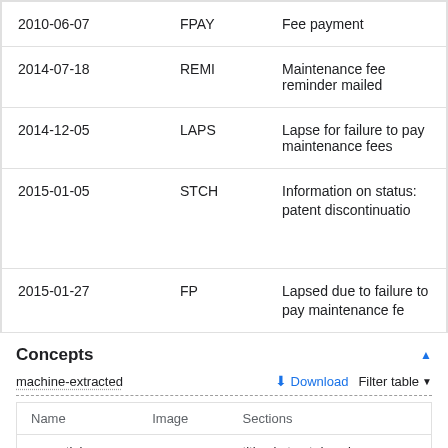| Date | Code | Description |
| --- | --- | --- |
| 2010-06-07 | FPAY | Fee payment |
| 2014-07-18 | REMI | Maintenance fee reminder mailed |
| 2014-12-05 | LAPS | Lapse for failure to pay maintenance fees |
| 2015-01-05 | STCH | Information on status: patent discontinuation |
| 2015-01-27 | FP | Lapsed due to failure to pay maintenance fees |
Concepts
machine-extracted
| Name | Image | Sections |
| --- | --- | --- |
| partial |  | title,abstract,descrip |
| agonist |  | title,description |